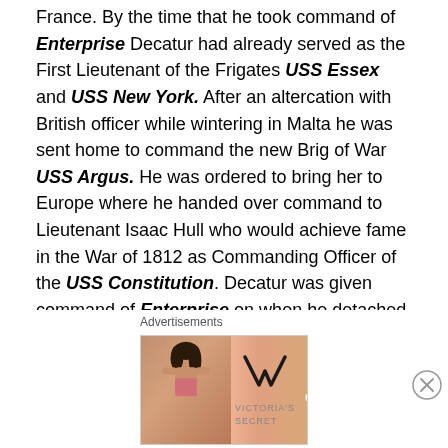France. By the time that he took command of Enterprise Decatur had already served as the First Lieutenant of the Frigates USS Essex and USS New York. After an altercation with British officer while wintering in Malta he was sent home to command the new Brig of War USS Argus. He was ordered to bring her to Europe where he handed over command to Lieutenant Isaac Hull who would achieve fame in the War of 1812 as Commanding Officer of the USS Constitution. Decatur was given command of Enterprise on when he detached from the Argus.

On December 23rd 1803 while operating with the Constitution Decatur and the Enterprise captured
[Figure (other): Victoria's Secret advertisement banner showing a model, the VS logo, 'SHOP THE COLLECTION' text, and a 'SHOP NOW' button]